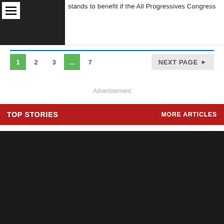[Figure (photo): Dark thumbnail image with hamburger menu icon overlay]
stands to benefit if the All Progressives Congress
1  2  3  ...  7    NEXT PAGE ►
Advertisement
TOP STORIES    MORE ARTICLES
[Figure (photo): Large dark story image]